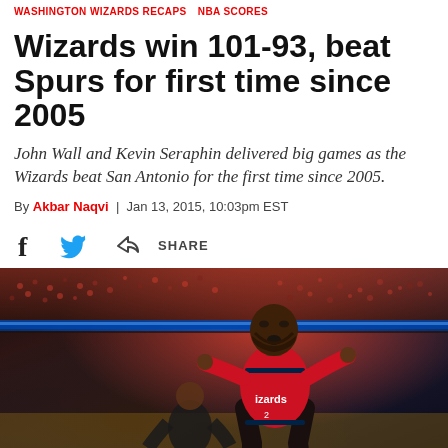WASHINGTON WIZARDS RECAPS   NBA SCORES
Wizards win 101-93, beat Spurs for first time since 2005
John Wall and Kevin Seraphin delivered big games as the Wizards beat San Antonio for the first time since 2005.
By Akbar Naqvi | Jan 13, 2015, 10:03pm EST
[Figure (photo): Basketball player in Washington Wizards red jersey celebrating or reacting intensely on the court, with arena crowd in background]
SHARE